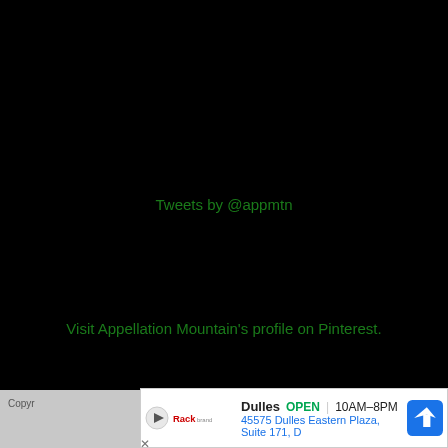Tweets by @appmtn
Visit Appellation Mountain's profile on Pinterest.
Copyr...   Privacy
[Figure (other): Advertisement banner: Dulles OPEN 10AM-8PM, 45575 Dulles Eastern Plaza, Suite 171, D with map navigation icon]